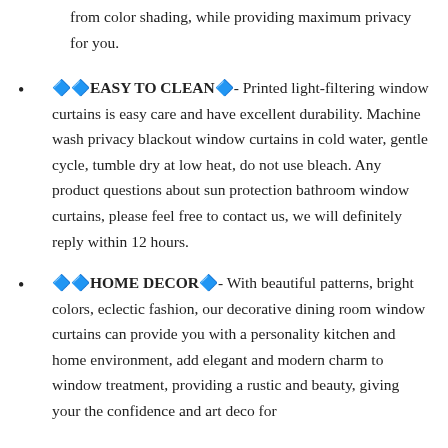from color shading, while providing maximum privacy for you.
🔷EASY TO CLEAN🔷- Printed light-filtering window curtains is easy care and have excellent durability. Machine wash privacy blackout window curtains in cold water, gentle cycle, tumble dry at low heat, do not use bleach. Any product questions about sun protection bathroom window curtains, please feel free to contact us, we will definitely reply within 12 hours.
🔷HOME DECOR🔷- With beautiful patterns, bright colors, eclectic fashion, our decorative dining room window curtains can provide you with a personality kitchen and home environment, add elegant and modern charm to window treatment, providing a rustic and beauty, giving your the confidence and art deco for